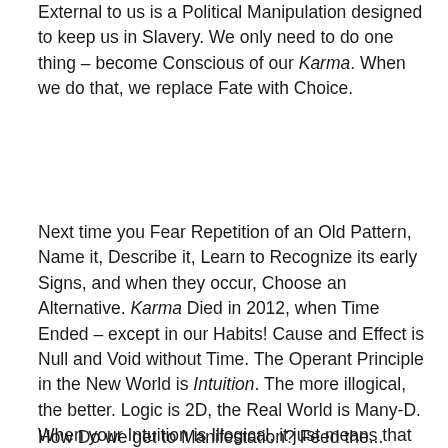External to us is a Political Manipulation designed to keep us in Slavery. We only need to do one thing – become Conscious of our Karma. When we do that, we replace Fate with Choice.
Next time you Fear Repetition of an Old Pattern, Name it, Describe it, Learn to Recognize its early Signs, and when they occur, Choose an Alternative. Karma Died in 2012, when Time Ended – except in our Habits! Cause and Effect is Null and Void without Time. The Operant Principle in the New World is Intuition. The more illogical, the better. Logic is 2D, the Real World is Many-D. When your Intuition is Illogical, it just means that it's cutting through invisible corners. When you're trying to Manifest something you've never Manifested before, you can't do it by Repeating your Old Patterns.
How Do we get to Manifestation? Feed the...